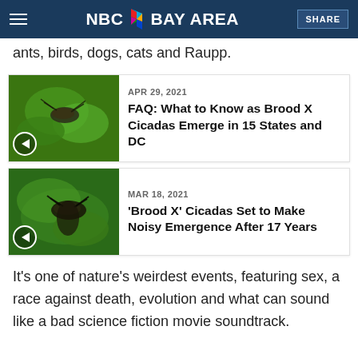NBC BAY AREA | SHARE
ants, birds, dogs, cats and Raupp.
[Figure (screenshot): Article thumbnail: cicadas on green leaves with play button overlay]
APR 29, 2021
FAQ: What to Know as Brood X Cicadas Emerge in 15 States and DC
[Figure (screenshot): Article thumbnail: cicada on green leaf with play button overlay]
MAR 18, 2021
'Brood X' Cicadas Set to Make Noisy Emergence After 17 Years
It's one of nature's weirdest events, featuring sex, a race against death, evolution and what can sound like a bad science fiction movie soundtrack.